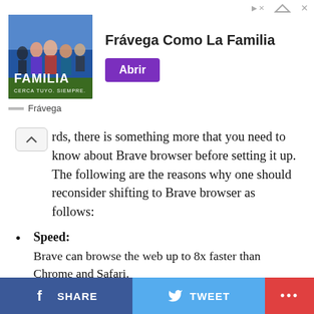[Figure (screenshot): Advertisement banner for Frávega showing group photo with text 'Frávega Como La Familia' and purple 'Abrir' button]
rds, there is something more that you need to know about Brave browser before setting it up. The following are the reasons why one should reconsider shifting to Brave browser as follows:
Speed: Brave can browse the web up to 8x faster than Chrome and Safari.
Block Ads and Trackers: Brave blocks undesired content by default and manages sum.
Protects your Privacy:
SHARE   TWEET   •••